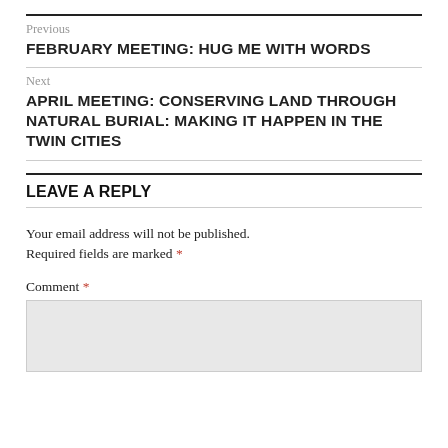Previous
FEBRUARY MEETING: HUG ME WITH WORDS
Next
APRIL MEETING: CONSERVING LAND THROUGH NATURAL BURIAL: MAKING IT HAPPEN IN THE TWIN CITIES
LEAVE A REPLY
Your email address will not be published. Required fields are marked *
Comment *